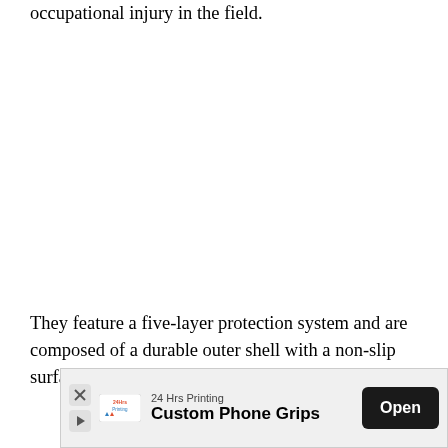occupational injury in the field.
They feature a five-layer protection system and are composed of a durable outer shell with a non-slip surface that stays intact no matter how hard you're
[Figure (other): Mobile advertisement banner for '24 Hrs Printing' showing a logo, the text 'Custom Phone Grips', and an 'Open' button. Also shows close (X) and play icons on the left side.]